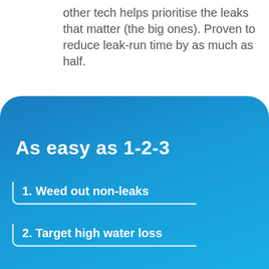other tech helps prioritise the leaks that matter (the big ones). Proven to reduce leak-run time by as much as half.
As easy as 1-2-3
1. Weed out non-leaks
2. Target high water loss